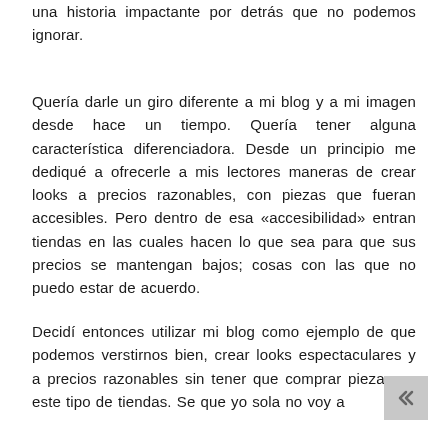una historia impactante por detrás que no podemos ignorar.
Quería darle un giro diferente a mi blog y a mi imagen desde hace un tiempo. Quería tener alguna característica diferenciadora. Desde un principio me dediqué a ofrecerle a mis lectores maneras de crear looks a precios razonables, con piezas que fueran accesibles. Pero dentro de esa «accesibilidad» entran tiendas en las cuales hacen lo que sea para que sus precios se mantengan bajos; cosas con las que no puedo estar de acuerdo.
Decidí entonces utilizar mi blog como ejemplo de que podemos verstirnos bien, crear looks espectaculares y a precios razonables sin tener que comprar piezas en este tipo de tiendas. Se que yo sola no voy a